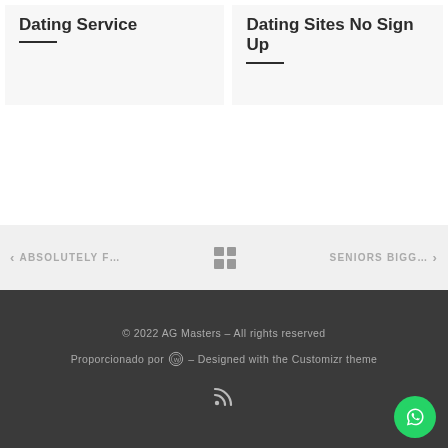Dating Service
Dating Sites No Sign Up
< ABSOLUTELY F...
SENIORS BIGG... >
© 2022 AG Masters – All rights reserved
Proporcionado por – Designed with the Customizr theme